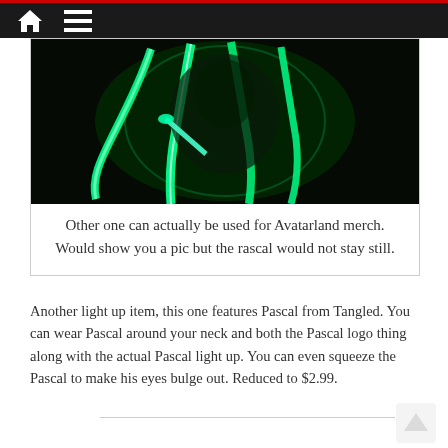Home menu navigation bar
[Figure (photo): Person with glowing green light-up ribbons/streamers around their head and body against a dark background]
Other one can actually be used for Avatarland merch. Would show you a pic but the rascal would not stay still.
Another light up item, this one features Pascal from Tangled. You can wear Pascal around your neck and both the Pascal logo thing along with the actual Pascal light up. You can even squeeze the Pascal to make his eyes bulge out. Reduced to $2.99.